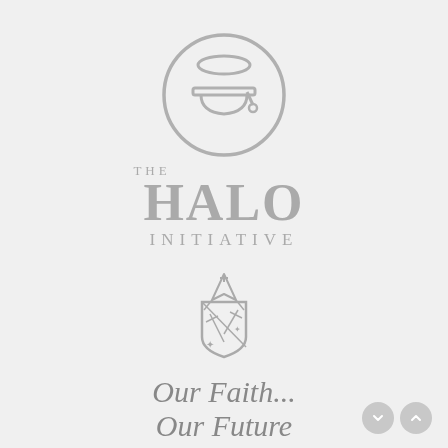[Figure (logo): The HALO Initiative logo: a circular emblem containing a graduation cap below a halo/disc shape, rendered in gray. Below the circle: 'THE' in small caps, 'HALO' in large bold serif text, 'INITIATIVE' in spaced caps.]
[Figure (logo): Diocese heraldic crest/shield logo in gray, featuring crossed keys and other heraldic elements with a pointed bishop's mitre on top.]
Our Faith... Our Future